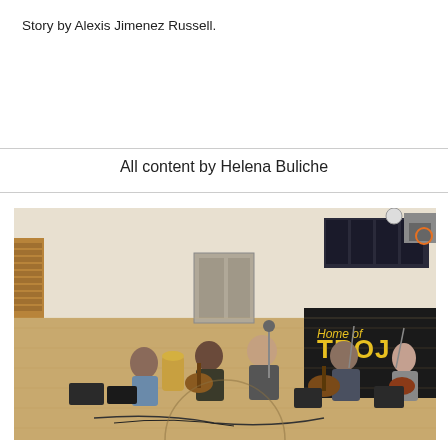Story by Alexis Jimenez Russell.
All content by Helena Buliche
[Figure (photo): Musicians performing in a school gymnasium. Several band members are seated and playing guitars and percussion instruments on the basketball court floor. A yellow and black 'Home of the Trojans' banner is visible on the right wall. Sports posters and a basketball hoop are visible in the background.]